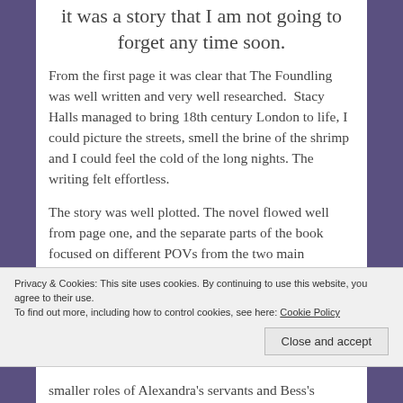it was a story that I am not going to forget any time soon.
From the first page it was clear that The Foundling was well written and very well researched.  Stacy Halls managed to bring 18th century London to life, I could picture the streets, smell the brine of the shrimp and I could feel the cold of the long nights. The writing felt effortless.
The story was well plotted. The novel flowed well from page one, and the separate parts of the book focused on different POVs from the two main
Privacy & Cookies: This site uses cookies. By continuing to use this website, you agree to their use.
To find out more, including how to control cookies, see here: Cookie Policy
smaller roles of Alexandra's servants and Bess's